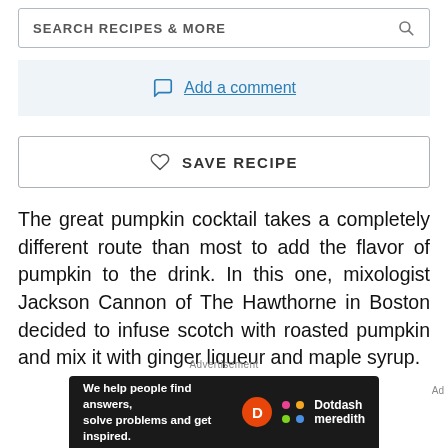SEARCH RECIPES & MORE
Add a comment
SAVE RECIPE
The great pumpkin cocktail takes a completely different route than most to add the flavor of pumpkin to the drink. In this one, mixologist Jackson Cannon of The Hawthorne in Boston decided to infuse scotch with roasted pumpkin and mix it with ginger liqueur and maple syrup.
Advertisement
[Figure (infographic): Dotdash Meredith advertisement banner with text 'We help people find answers, solve problems and get inspired.']